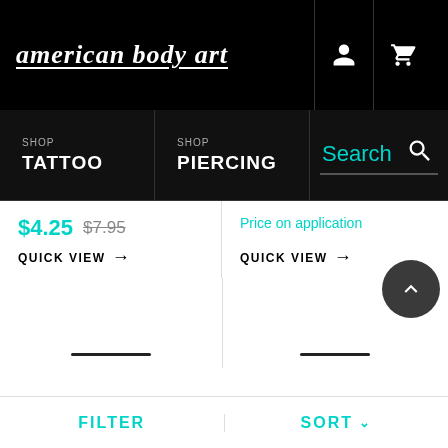american body art
SHOP TATTOO
SHOP PIERCING
$4.25  $7.95
QUICK VIEW →
Price on application
QUICK VIEW →
FILTER   SORT ∨